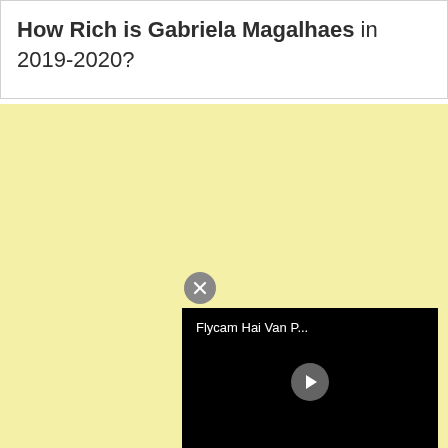How Rich is Gabriela Magalhaes in 2019-2020?
[Figure (screenshot): Yellow advertisement background area with a video player widget showing 'Flycam Hai Van P...' title and a play button, with a close (X) button above it]